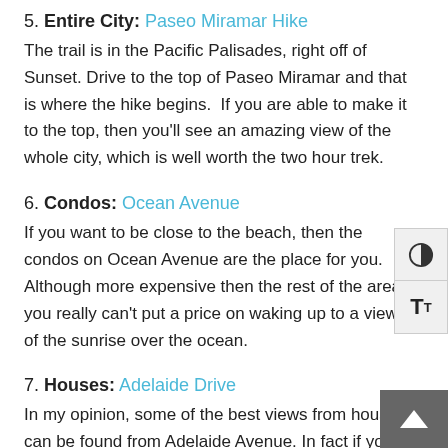5. Entire City: Paseo Miramar Hike
The trail is in the Pacific Palisades, right off of Sunset. Drive to the top of Paseo Miramar and that is where the hike begins.  If you are able to make it to the top, then you'll see an amazing view of the whole city, which is well worth the two hour trek.
6. Condos: Ocean Avenue
If you want to be close to the beach, then the condos on Ocean Avenue are the place for you. Although more expensive then the rest of the area, you really can't put a price on waking up to a view of the sunrise over the ocean.
7. Houses: Adelaide Drive
In my opinion, some of the best views from houses can be found from Adelaide Avenue. In fact if you have a seven million dollar budget